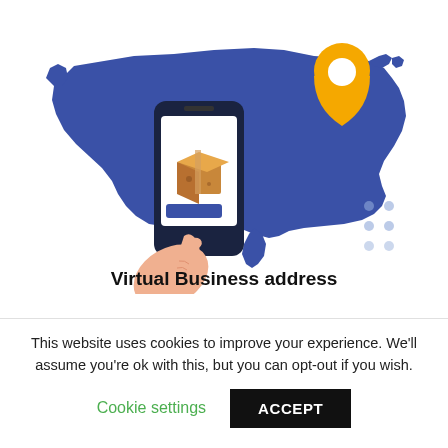[Figure (illustration): Illustration of a blue silhouette map of the United States with a yellow location pin in the upper right area (northeast region), and an arm/hand holding a smartphone showing a cardboard box on its screen with a blue button, overlaid on the map. Light blue decorative dots appear in the lower right of the map area.]
Virtual Business address
This website uses cookies to improve your experience. We'll assume you're ok with this, but you can opt-out if you wish.
Cookie settings
ACCEPT